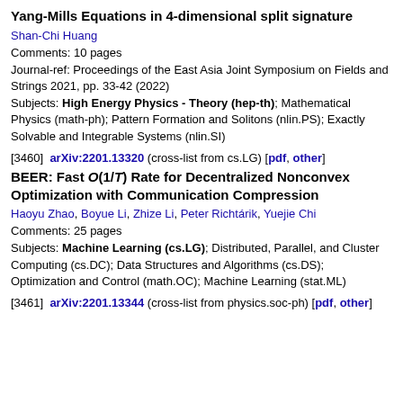Yang-Mills Equations in 4-dimensional split signature
Shan-Chi Huang
Comments: 10 pages
Journal-ref: Proceedings of the East Asia Joint Symposium on Fields and Strings 2021, pp. 33-42 (2022)
Subjects: High Energy Physics - Theory (hep-th); Mathematical Physics (math-ph); Pattern Formation and Solitons (nlin.PS); Exactly Solvable and Integrable Systems (nlin.SI)
[3460]  arXiv:2201.13320 (cross-list from cs.LG) [pdf, other]
BEER: Fast O(1/T) Rate for Decentralized Nonconvex Optimization with Communication Compression
Haoyu Zhao, Boyue Li, Zhize Li, Peter Richtárik, Yuejie Chi
Comments: 25 pages
Subjects: Machine Learning (cs.LG); Distributed, Parallel, and Cluster Computing (cs.DC); Data Structures and Algorithms (cs.DS); Optimization and Control (math.OC); Machine Learning (stat.ML)
[3461]  arXiv:2201.13344 (cross-list from physics.soc-ph) [pdf, other]